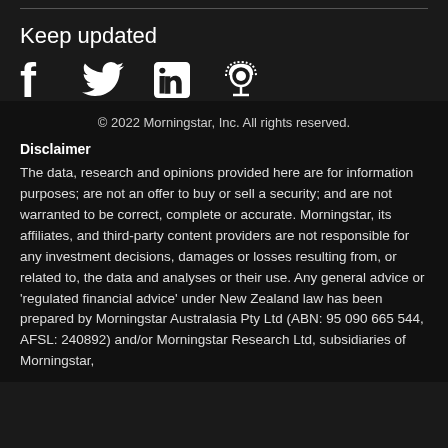Keep updated
[Figure (illustration): Social media icons: Facebook, Twitter, LinkedIn, Podcast]
© 2022 Morningstar, Inc. All rights reserved.
Disclaimer
The data, research and opinions provided here are for information purposes; are not an offer to buy or sell a security; and are not warranted to be correct, complete or accurate. Morningstar, its affiliates, and third-party content providers are not responsible for any investment decisions, damages or losses resulting from, or related to, the data and analyses or their use. Any general advice or 'regulated financial advice' under New Zealand law has been prepared by Morningstar Australasia Pty Ltd (ABN: 95 090 665 544, AFSL: 240892) and/or Morningstar Research Ltd, subsidiaries of Morningstar,